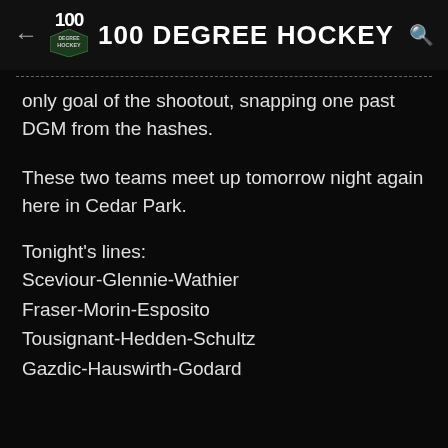100 DEGREE HOCKEY
only goal of the shootout, snapping one past DGM from the hashes.
These two teams meet up tomorrow night again here in Cedar Park.
Tonight's lines:
Sceviour-Glennie-Wathier
Fraser-Morin-Esposito
Tousignant-Hedden-Schultz
Gazdic-Hauswirth-Godard